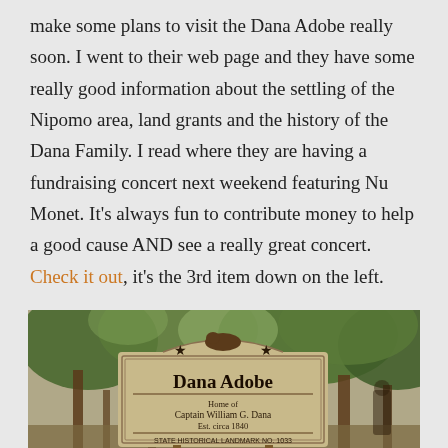make some plans to visit the Dana Adobe really soon. I went to their web page and they have some really good information about the settling of the Nipomo area, land grants and the history of the Dana Family. I read where they are having a fundraising concert next weekend featuring Nu Monet. It's always fun to contribute money to help a good cause AND see a really great concert. Check it out, it's the 3rd item down on the left.
[Figure (photo): A photograph of the Dana Adobe historical landmark sign reading 'Dana Adobe, Home of Captain William G. Dana, Est. circa 1840, STATE HISTORICAL LANDMARK NO. 1033', with trees in the background.]